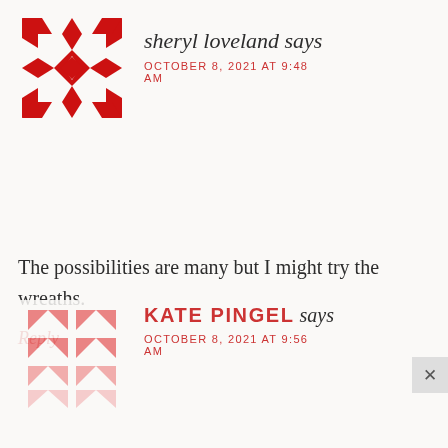[Figure (illustration): Red geometric quilt-pattern avatar for user sheryl loveland]
sheryl loveland says
OCTOBER 8, 2021 AT 9:48 AM
The possibilities are many but I might try the wreaths.
Reply
[Figure (illustration): Pink/red geometric quilt-pattern avatar for user KATE PINGEL]
KATE PINGEL says
OCTOBER 8, 2021 AT 9:56 AM